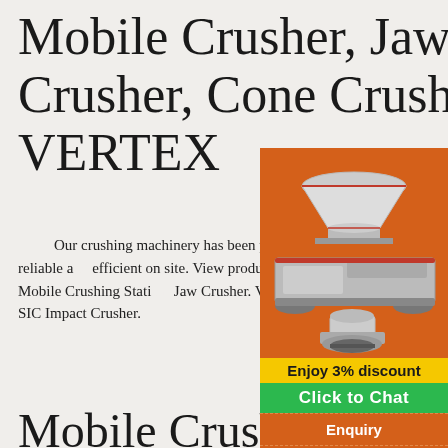Mobile Crusher, Jaw Crusher, Cone Crusher - VERTEX
Our crushing machinery has been perfected over the past 20 years to ensure they are reliable and efficient on site. View products. V-HP Cone Cu... HS Cone Crusher. V-K Mobile Crushing Station. Jaw Crusher. V-S Vibrating Screen. V-F Vibrating Feeder. V-SIC Impact Crusher.
Mobile Crush and Screen Plant - bai by
[Figure (photo): Three industrial crushing machines on orange background]
Enjoy 3% discount
Click to Chat
Enquiry
limingjlmofen@sina.com
2021-10-9   Mobile crushing plant is a kind of type mobile stone crusher plant. It combines w... feeder, jaw crusher, cone / impact crusher, vibrating screen on one truck body to crush and screen gravels